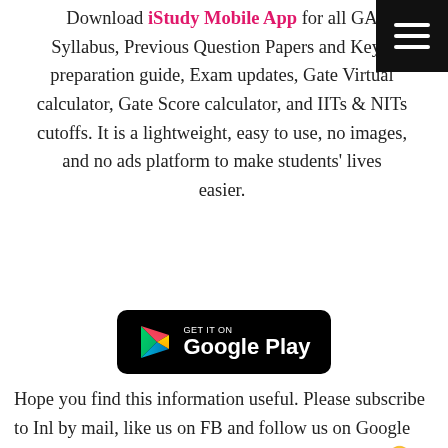Download iStudy Mobile App for all GATE Syllabus, Previous Question Papers and Keys, preparation guide, Exam updates, Gate Virtual calculator, Gate Score calculator, and IITs & NITs cutoffs. It is a lightweight, easy to use, no images, and no ads platform to make students' lives easier.
[Figure (other): Get it on Google Play button — black rounded rectangle with Google Play triangle logo and text 'GET IT ON Google Play']
Hope you find this information useful. Please subscribe to Inl by mail, like us on FB and follow us on Google plus. Don't feel shy to share this with your friends 🙂